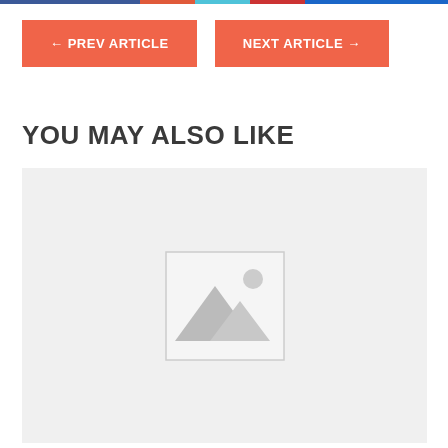← PREV ARTICLE   NEXT ARTICLE →
YOU MAY ALSO LIKE
[Figure (illustration): Placeholder image thumbnail with mountain and sun icon on light grey background]